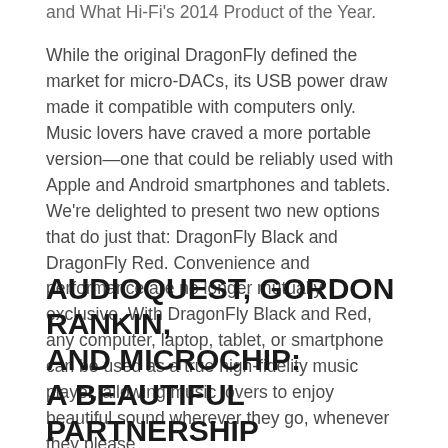and What Hi-Fi's 2014 Product of the Year.
While the original DragonFly defined the market for micro-DACs, its USB power draw made it compatible with computers only. Music lovers have craved a more portable version—one that could be reliably used with Apple and Android smartphones and tablets. We're delighted to present two new options that do just that: DragonFly Black and DragonFly Red. Convenience and performance are no longer mutually exclusive. With DragonFly Black and Red, any computer, laptop, tablet, or smartphone can be used as a true high-fidelity music player, allowing music lovers to enjoy beautiful sound wherever they go, whenever they please.
AUDIOQUEST, GORDON RANKIN, AND MICROCHIP: A BEAUTIFUL PARTNERSHIP